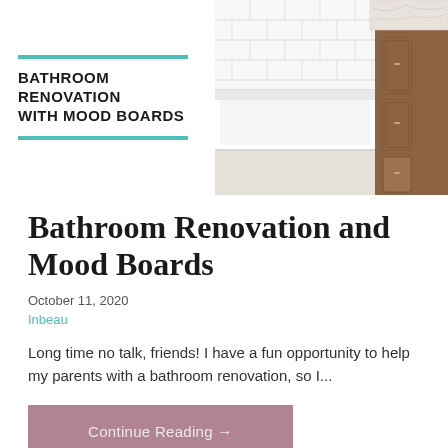[Figure (photo): Banner image for bathroom renovation blog post. Left side shows teal horizontal lines above and below bold uppercase text 'BATHROOM RENOVATION WITH MOOD BOARDS' on white background. Right side shows a bathroom with white subway tile wall, white freestanding bathtub, and a wood vanity with marble countertop.]
Bathroom Renovation and Mood Boards
October 11, 2020
Inbeau
Long time no talk, friends! I have a fun opportunity to help my parents with a bathroom renovation, so I...
Continue Reading →